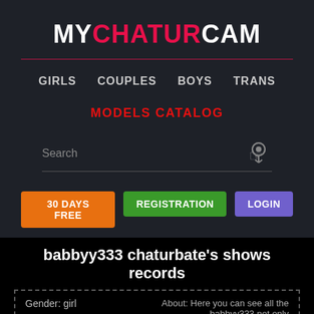MYCHATURCAM
GIRLS
COUPLES
BOYS
TRANS
MODELS CATALOG
Search
30 DAYS FREE
REGISTRATION
LOGIN
babbyy333 chaturbate's shows records
Gender: girl
About: Here you can see all the babbyy333 not only